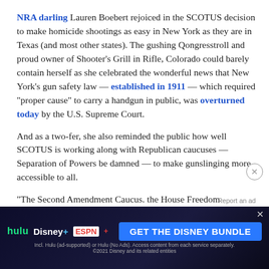NRA darling Lauren Boebert rejoiced in the SCOTUS decision to make homicide shootings as easy in New York as they are in Texas (and most other states). The gushing Qongresstroll and proud owner of Shooter's Grill in Rifle, Colorado could barely contain herself as she celebrated the wonderful news that New York's gun safety law — established in 1911 — which required "proper cause" to carry a handgun in public, was overturned today by the U.S. Supreme Court.
And as a two-fer, she also reminded the public how well SCOTUS is working along with Republican caucuses — Separation of Powers be damned — to make gunslinging more accessible to all.
"The Second Amendment Caucus. the House Freedom
[Figure (other): Advertisement banner for Disney Bundle (Hulu, Disney+, ESPN+) with dark background and blue CTA button saying GET THE DISNEY BUNDLE]